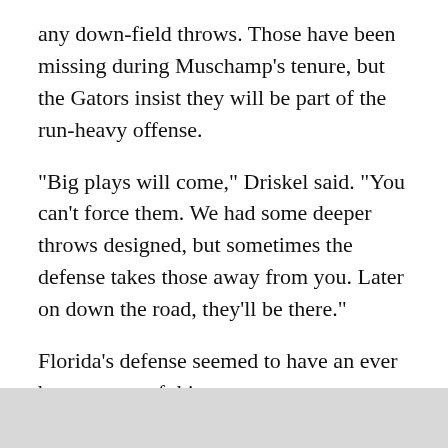any down-field throws. Those have been missing during Muschamp's tenure, but the Gators insist they will be part of the run-heavy offense.
"Big plays will come," Driskel said. "You can't force them. We had some deeper throws designed, but sometimes the defense takes those away from you. Later on down the road, they'll be there."
Florida's defense seemed to have an ever better grasp of things.
The unit, which lost seven starters and its coordinator after last season, held Toledo to 205 yards and one third-down conversion in 13 attempts.